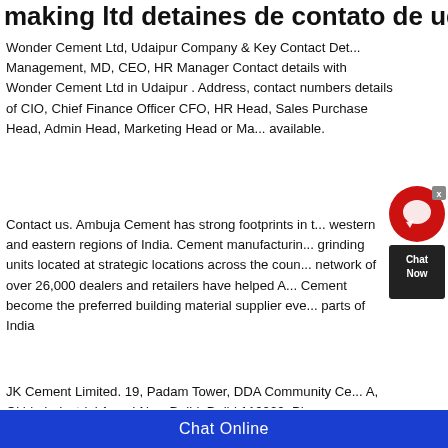making ltd detaines de contato de udaip...
Wonder Cement Ltd, Udaipur Company & Key Contact Det... Management, MD, CEO, HR Manager Contact details with Wonder Cement Ltd in Udaipur . Address, contact numbers details of CIO, Chief Finance Officer CFO, HR Head, Sales Purchase Head, Admin Head, Marketing Head or Ma... available.
[Figure (other): Chat Now widget with red circular icon and dark box]
Contact us. Ambuja Cement has strong footprints in t... western and eastern regions of India. Cement manufacturin... grinding units located at strategic locations across the coun... network of over 26,000 dealers and retailers have helped A... Cement become the preferred building material supplier eve... parts of India
JK Cement Limited. 19, Padam Tower, DDA Community Ce... A, Okhla Industrial Area I New Delhi, Delhi 110020, Phone...
Chat Online